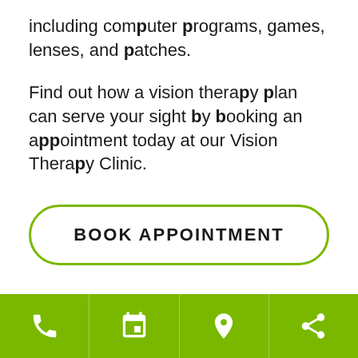including computer programs, games, lenses, and patches.
Find out how a vision therapy plan can serve your sight by booking an appointment today at our Vision Therapy Clinic.
BOOK APPOINTMENT
Phone | Calendar | Location | Share